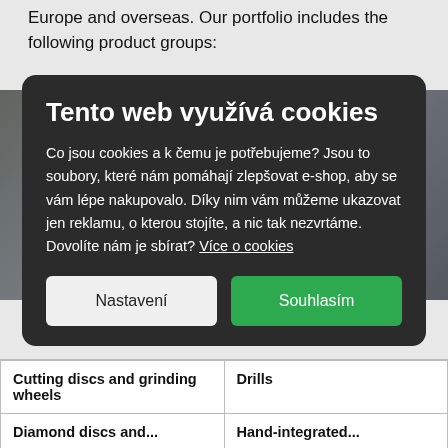Europe and overseas. Our portfolio includes the following product groups:
[Figure (screenshot): Cookie consent modal dialog overlaid on a webpage showing industrial machinery image. Modal has dark background with title 'Tento web využívá cookies', explanatory text in Czech, and two buttons: 'Nastavení' (Settings) and 'Souhlasím' (I agree).]
| Cutting discs and grinding wheels | Drills |
| --- | --- |
| Diamond discs and... | Hand-integrated... |